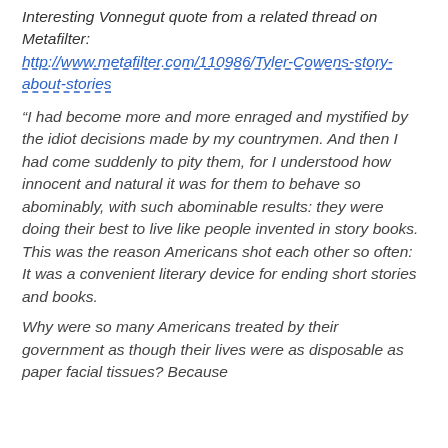Interesting Vonnegut quote from a related thread on Metafilter: http://www.metafilter.com/110986/Tyler-Cowens-story-about-stories
“I had become more and more enraged and mystified by the idiot decisions made by my countrymen. And then I had come suddenly to pity them, for I understood how innocent and natural it was for them to behave so abominably, with such abominable results: they were doing their best to live like people invented in story books. This was the reason Americans shot each other so often: It was a convenient literary device for ending short stories and books.
Why were so many Americans treated by their government as though their lives were as disposable as paper facial tissues? Because